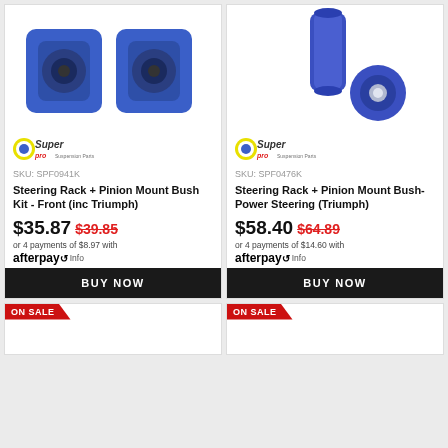[Figure (photo): Blue polyurethane steering rack bush kit parts - two half-round bushings]
[Figure (logo): Superpro brand logo]
SKU: SPF0941K
Steering Rack + Pinion Mount Bush Kit - Front (inc Triumph)
$35.87 $39.85
or 4 payments of $8.97 with afterpay Info
[Figure (photo): Blue polyurethane steering rack bush and sleeve parts]
[Figure (logo): Superpro brand logo]
SKU: SPF0476K
Steering Rack + Pinion Mount Bush-Power Steering (Triumph)
$58.40 $64.89
or 4 payments of $14.60 with afterpay Info
BUY NOW
BUY NOW
ON SALE
ON SALE